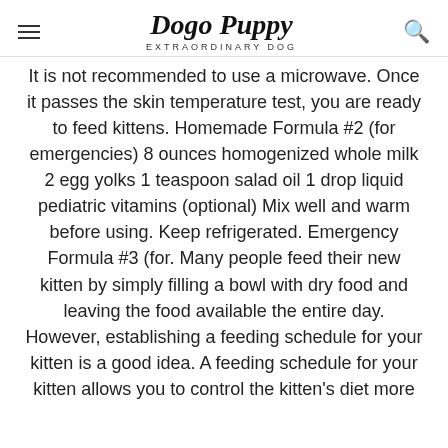Dogo Puppy EXTRAORDINARY DOG
It is not recommended to use a microwave. Once it passes the skin temperature test, you are ready to feed kittens. Homemade Formula #2 (for emergencies) 8 ounces homogenized whole milk 2 egg yolks 1 teaspoon salad oil 1 drop liquid pediatric vitamins (optional) Mix well and warm before using. Keep refrigerated. Emergency Formula #3 (for. Many people feed their new kitten by simply filling a bowl with dry food and leaving the food available the entire day. However, establishing a feeding schedule for your kitten is a good idea. A feeding schedule for your kitten allows you to control the kitten's diet more